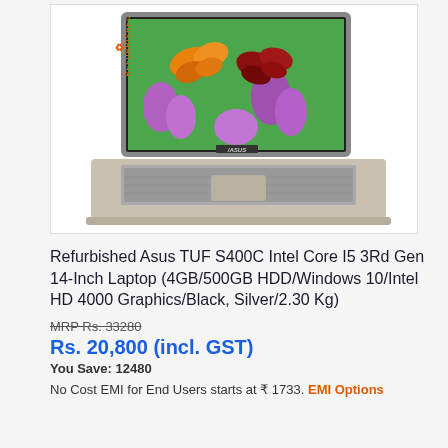[Figure (photo): Refurbished ASUS laptop with butterfly/flower screen display, silver body, with 'REFURBISHED' label on left side]
Refurbished Asus TUF S400C Intel Core I5 3Rd Gen 14-Inch Laptop (4GB/500GB HDD/Windows 10/Intel HD 4000 Graphics/Black, Silver/2.30 Kg)
MRP Rs. 33280
Rs. 20,800 (incl. GST)
You Save: 12480
No Cost EMI for End Users starts at ₹ 1733. EMI Options